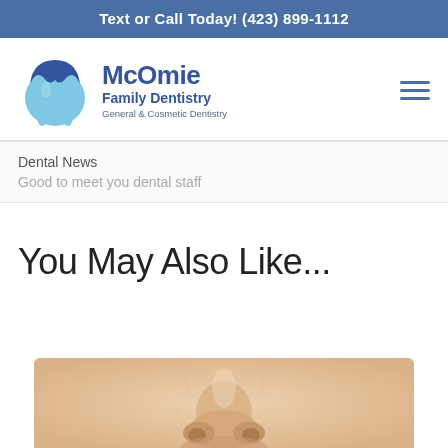Text or Call Today! (423) 899-1112
[Figure (logo): McOmie Family Dentistry logo with tooth icon, text reads 'McOmie Family Dentistry General & Cosmetic Dentistry']
Dental News
Good to meet you dental staff
You May Also Like...
[Figure (photo): Close-up photo of a person's nose and upper lip area, skin texture visible]